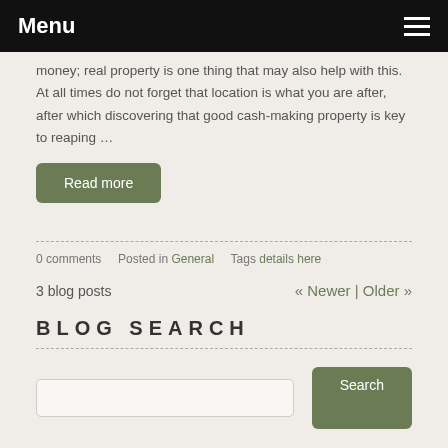Menu
money; real property is one thing that may also help with this. At all times do not forget that location is what you are after, after which discovering that good cash-making property is key to reaping …
Read more
0 comments   Posted in General   Tags details here
3 blog posts   « Newer | Older »
BLOG SEARCH
Search